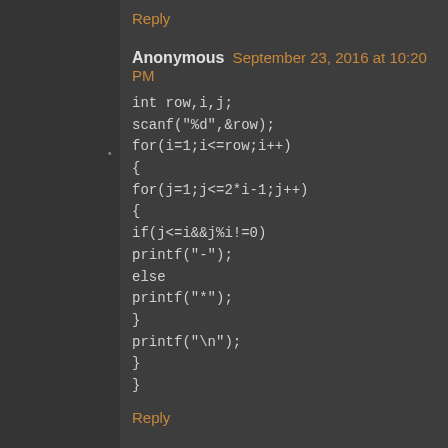Reply
Anonymous September 23, 2016 at 10:20 PM
int row,i,j;
scanf("%d",&row);
for(i=1;i<=row;i++)
{
for(j=1;j<=2*i-1;j++)
{
if(j<=i&&j%i!=0)
printf("-");
else
printf("*");
}
printf("\n");
}
}
Reply